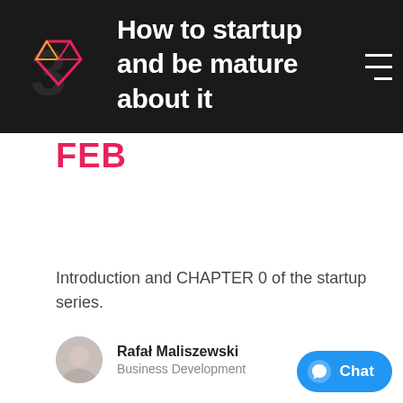How to startup and be mature about it
FEB
Introduction and CHAPTER 0 of the startup series.
Rafał Maliszewski
Business Development
A journey of a thousand miles